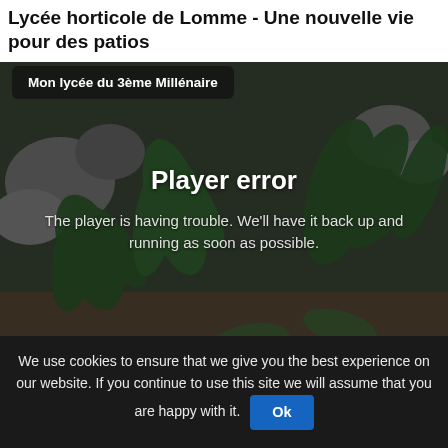Lycée horticole de Lomme - Une nouvelle vie pour des patios
[Figure (screenshot): Video player showing a garden/patio scene with ferns, rocks and ground cover. Player error overlay displayed. Badge label 'Mon lycée du 3ème Millénaire' in top left. Error message: 'Player error' and 'The player is having trouble. We'll have it back up and running as soon as possible.']
We use cookies to ensure that we give you the best experience on our website. If you continue to use this site we will assume that you are happy with it.